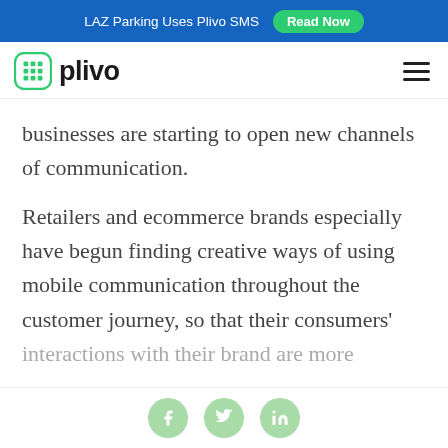LAZ Parking Uses Plivo SMS  Read Now
[Figure (logo): Plivo logo with green cloud/grid icon and 'plivo' wordmark in dark text, plus hamburger menu icon on right]
businesses are starting to open new channels of communication.
Retailers and ecommerce brands especially have begun finding creative ways of using mobile communication throughout the customer journey, so that their consumers' interactions with their brand are more
Social icons: Facebook, Twitter, LinkedIn